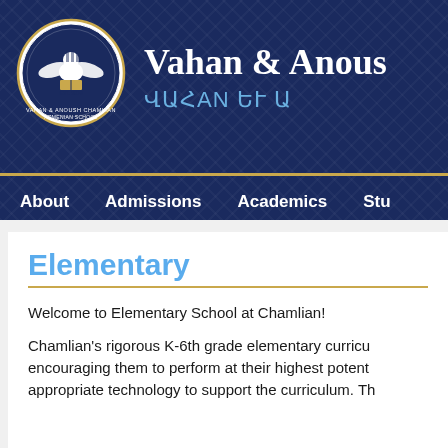[Figure (logo): Circular school seal/logo for Vahan & Anoush Chamlian Armenian School, dark blue with an eagle/lion and book emblem, text around the border]
Vahan & Anous
ՎԱՀAN ԵՒ Ա
About   Admissions   Academics   Stu
Elementary
Welcome to Elementary School at Chamlian!
Chamlian's rigorous K-6th grade elementary curricu... encouraging them to perform at their highest potent... appropriate technology to support the curriculum. Th